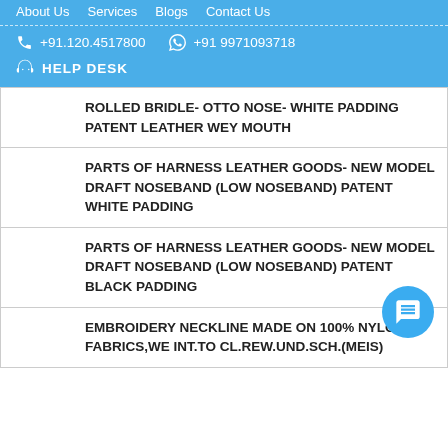About Us  Services  Blogs  Contact Us
+91.120.4517800   +91 9971093718   HELP DESK
ROLLED BRIDLE- OTTO NOSE- WHITE PADDING PATENT LEATHER WEY MOUTH
PARTS OF HARNESS LEATHER GOODS- NEW MODEL DRAFT NOSEBAND (LOW NOSEBAND) PATENT WHITE PADDING
PARTS OF HARNESS LEATHER GOODS- NEW MODEL DRAFT NOSEBAND (LOW NOSEBAND) PATENT BLACK PADDING
EMBROIDERY NECKLINE MADE ON 100% NYLON FABRICS,WE INT.TO CL.REW.UND.SCH.(MEIS)